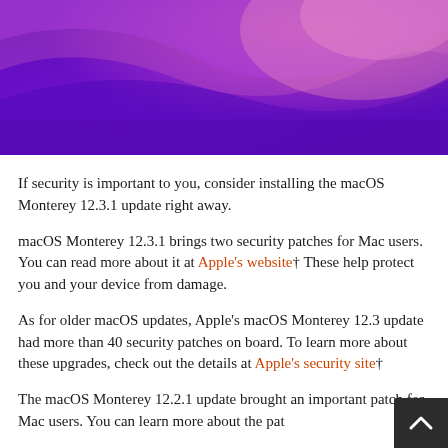[Figure (illustration): macOS Monterey wallpaper gradient — purple, magenta, and pink swirling waves on a violet background]
If security is important to you, consider installing the macOS Monterey 12.3.1 update right away.
macOS Monterey 12.3.1 brings two security patches for Mac users. You can read more about it at Apple's website† These help protect you and your device from damage.
As for older macOS updates, Apple's macOS Monterey 12.3 update had more than 40 security patches on board. To learn more about these upgrades, check out the details at Apple's security site†
The macOS Monterey 12.2.1 update brought an important patch for Mac users. You can learn more about the pat…